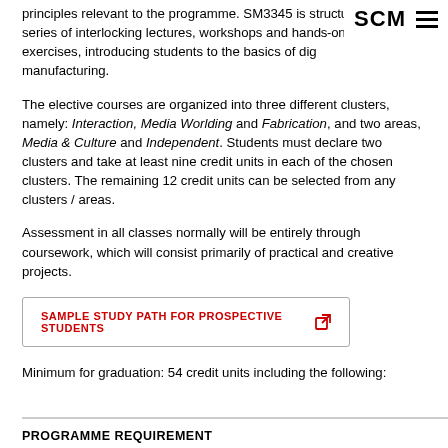SCM
principles relevant to the programme. SM3345 is structured as a series of interlocking lectures, workshops and hands-on exercises, introducing students to the basics of digital manufacturing.
The elective courses are organized into three different clusters, namely: Interaction, Media Worlding and Fabrication, and two areas, Media & Culture and Independent. Students must declare two clusters and take at least nine credit units in each of the chosen clusters. The remaining 12 credit units can be selected from any clusters / areas.
Assessment in all classes normally will be entirely through coursework, which will consist primarily of practical and creative projects.
SAMPLE STUDY PATH FOR PROSPECTIVE STUDENTS
Minimum for graduation: 54 credit units including the following:
PROGRAMME REQUIREMENT